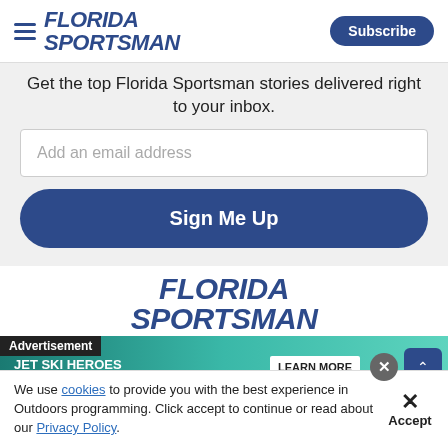Florida Sportsman | Subscribe
Get the top Florida Sportsman stories delivered right to your inbox.
Add an email address
Sign Me Up
[Figure (logo): Florida Sportsman logo in blue bold italic text]
[Figure (infographic): Advertisement banner: JET SKI HEROES SAVE FAMILY FROM with teal/green background and LEARN MORE button]
We use cookies to provide you with the best experience in Outdoors programming. Click accept to continue or read about our Privacy Policy.